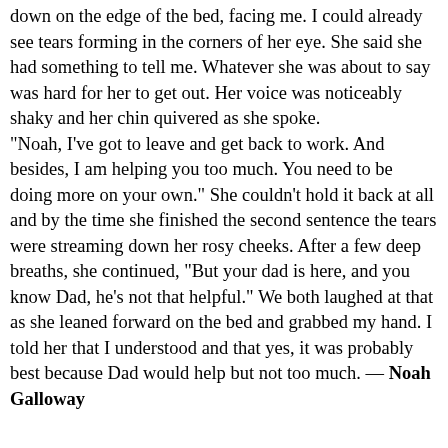down on the edge of the bed, facing me. I could already see tears forming in the corners of her eye. She said she had something to tell me. Whatever she was about to say was hard for her to get out. Her voice was noticeably shaky and her chin quivered as she spoke. "Noah, I've got to leave and get back to work. And besides, I am helping you too much. You need to be doing more on your own." She couldn't hold it back at all and by the time she finished the second sentence the tears were streaming down her rosy cheeks. After a few deep breaths, she continued, "But your dad is here, and you know Dad, he's not that helpful." We both laughed at that as she leaned forward on the bed and grabbed my hand. I told her that I understood and that yes, it was probably best because Dad would help but not too much. — Noah Galloway